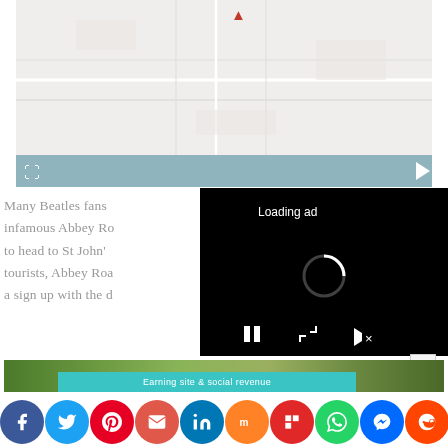[Figure (map): Map image showing location, with teal/slate bar at bottom and expand/play icons]
Many Beatles fans infamous Abbey Ro... to head to St John'... tourists, Abbey Roa... a sign up with the c...
[Figure (screenshot): Black video ad overlay with 'Loading ad' text, spinner, pause, expand, and mute controls]
[Figure (photo): Bottom strip showing outdoor/nature scene]
Earning site & social revenue
[Figure (infographic): Social share buttons row: Facebook, Twitter, Pinterest, Email, LinkedIn, Mix, Flipboard, WhatsApp, Messenger, Reddit, Share]